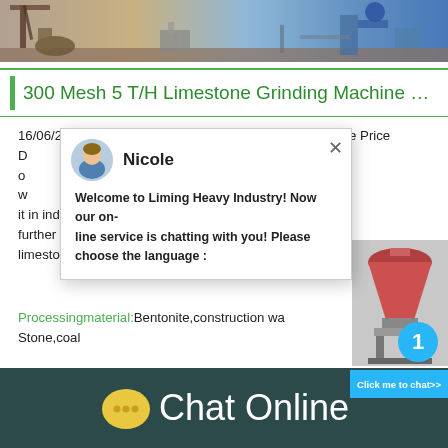[Figure (photo): Industrial machinery/mining equipment photo strip at top of page]
300 Mesh 5 T/H Limestone Grinding Machine …
16/06/2021  300 Mesh 5 T/H Limestone Grinding Machine Price D o w it in industry. It can be directly used for produ further processed to transform it into a higher limestone
[Figure (screenshot): Chat popup overlay with Nicole avatar, welcome message from Liming Heavy Industry, and machine image with badge '1' and 'Click me to chat>>' button]
Processingmaterial:Bentonite,construction wa Stone,coal
Chat Online